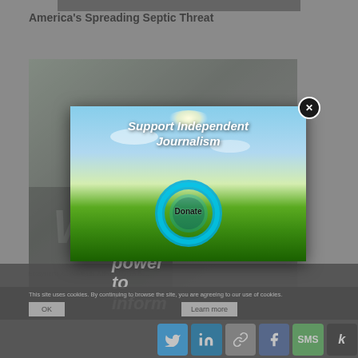America's Spreading Septic Threat
[Figure (screenshot): Screenshot of a webpage showing a modal popup overlay. The background shows an article with an image and title 'America's Spreading Septic Threat'. A modal popup titled 'Support Independent Journalism' with a Donate button appears in the center. A cookie consent bar and social media sharing icons are visible at the bottom.]
This site uses cookies. By continuing to browse the site, you are agreeing to our use of cookies.
OK
Learn more
You have the power to inform the
Support Independent Journalism
Donate
Ecosystems A ... contends With a Nitrogen Bo...